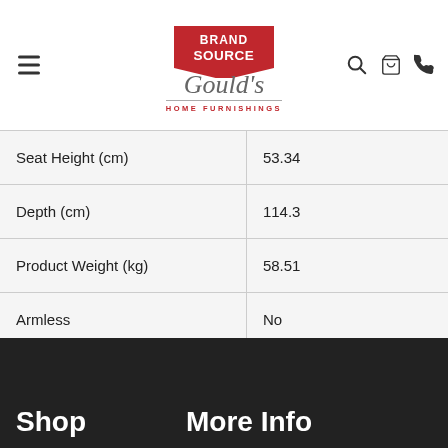[Figure (logo): BrandSource Gould's Home Furnishings logo with navigation icons]
| Seat Height (cm) | 53.34 |
| Depth (cm) | 114.3 |
| Product Weight (kg) | 58.51 |
| Armless | No |
Shop    More Info